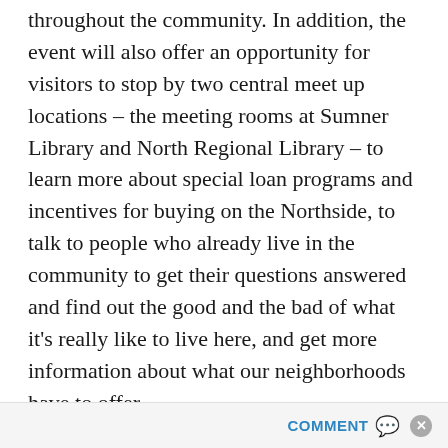throughout the community. In addition, the event will also offer an opportunity for visitors to stop by two central meet up locations – the meeting rooms at Sumner Library and North Regional Library – to learn more about special loan programs and incentives for buying on the Northside, to talk to people who already live in the community to get their questions answered and find out the good and the bad of what it's really like to live here, and get more information about what our neighborhoods have to offer.
I'm not formally with an organization, but I am a homeowner in the Northside's Hawthorne neighborhood and am working to put this together as
COMMENT